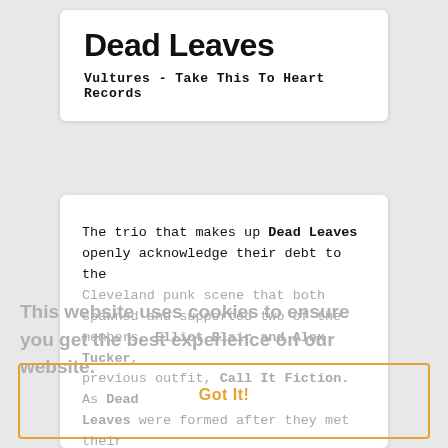Dead Leaves
Vultures - Take This To Heart Records
The trio that makes up Dead Leaves openly acknowledge their debt to the Cleveland punk scene that both spawned and supported two of the members, Elliot Blair and Alex Tucker, previous outfit, Call It Fiction. As Dead Leaves were formed after they met their third member, Gene Bernardo, when they played a show at his house, then it's clear that their roots are well and truly embedded in their local punk
This website uses cookies to ensure you get the best experience on our website. Got It! Learn more